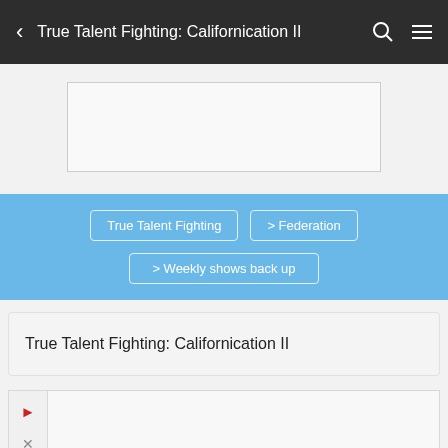True Talent Fighting: Californication II
[Figure (other): Advertisement banner placeholder box]
True Talent Fighting > Federation > Weekly shows back up
True Talent Fighting: Californication II
[Figure (other): Media player controls with play and close buttons]